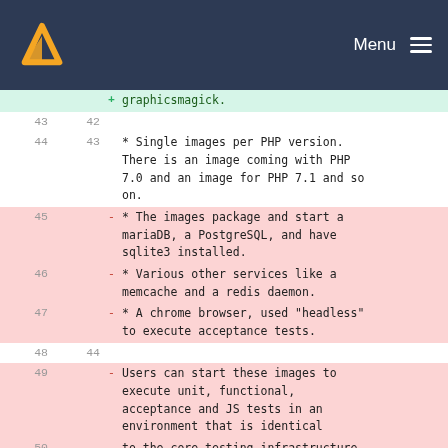Menu
| left-line | right-line | diff-marker | content |
| --- | --- | --- | --- |
|  |  | + | graphicsmagick. |
| 43 | 42 |  |  |
| 44 | 43 |  | * Single images per PHP version. There is an image coming with PHP 7.0 and an image for PHP 7.1 and so on. |
| 45 |  | - | * The images package and start a mariaDB, a PostgreSQL, and have sqlite3 installed. |
| 46 |  | - | * Various other services like a memcache and a redis daemon. |
| 47 |  | - | * A chrome browser, used "headless" to execute acceptance tests. |
| 48 | 44 |  |  |
| 49 |  | - | Users can start these images to execute unit, functional, acceptance and JS tests in an environment that is identical |
| 50 |  | - | to the core testing infrastructure. |
|  | 45 | + | Users can use these images to |